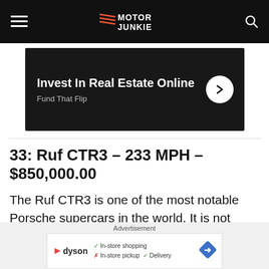Motor Junkie
[Figure (screenshot): Advertisement banner: Invest In Real Estate Online – Fund That Flip, with right-arrow button]
33: Ruf CTR3 – 233 MPH – $850,000.00
The Ruf CTR3 is one of the most notable Porsche supercars in the world. It is not
[Figure (screenshot): Advertisement: Dyson ad showing In-store shopping, In-store pickup, Delivery options with map icon]